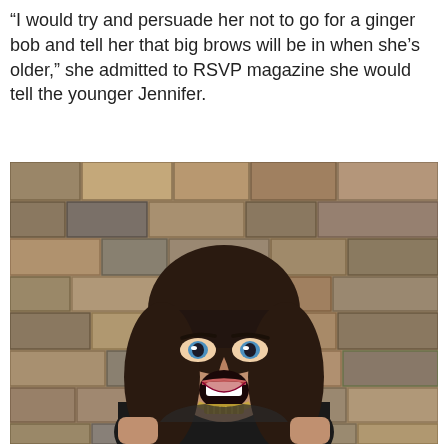“I would try and persuade her not to go for a ginger bob and tell her that big brows will be in when she’s older,” she admitted to RSVP magazine she would tell the younger Jennifer.
[Figure (photo): A woman with dark brown hair with bangs, wearing a black sleeveless dress with a gold necklace, standing in front of a stone wall background with her mouth open in an expressive pose.]